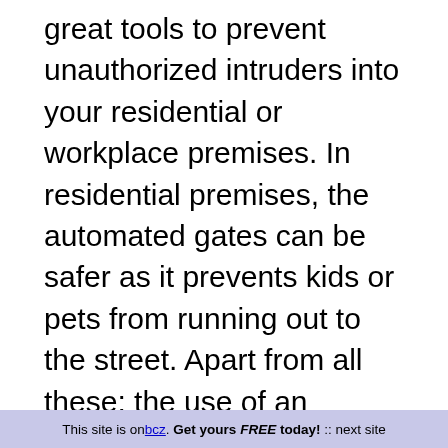great tools to prevent unauthorized intruders into your residential or workplace premises. In residential premises, the automated gates can be safer as it prevents kids or pets from running out to the street. Apart from all these; the use of an automated gate also gives the user great comfort. For example; when you use an automatic gate, you need not get down from your automobile to open or close the door. You can choose any type including an electric gate in Auckland matching your requirements and budget. This can be achieved by selecting a trusted provider like the GateMan Ltd of automatic gates in and around Auckland.
This site is on bcz. Get yours FREE today! :: next site